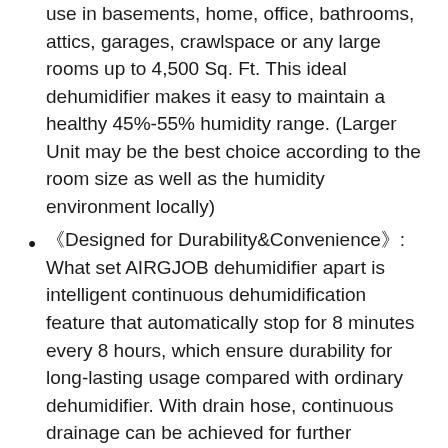use in basements, home, office, bathrooms, attics, garages, crawlspace or any large rooms up to 4,500 Sq. Ft. This ideal dehumidifier makes it easy to maintain a healthy 45%-55% humidity range. (Larger Unit may be the best choice according to the room size as well as the humidity environment locally)
《Designed for Durability&Convenience》: What set AIRGJOB dehumidifier apart is intelligent continuous dehumidification feature that automatically stop for 8 minutes every 8 hours, which ensure durability for long-lasting usage compared with ordinary dehumidifier. With drain hose, continuous drainage can be achieved for further convenience. Just once setting, several months hassel-free, no hours limited. Suitable for constantly damp spaces